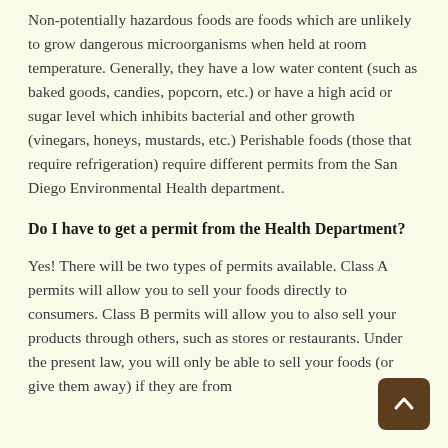Non-potentially hazardous foods are foods which are unlikely to grow dangerous microorganisms when held at room temperature. Generally, they have a low water content (such as baked goods, candies, popcorn, etc.) or have a high acid or sugar level which inhibits bacterial and other growth (vinegars, honeys, mustards, etc.) Perishable foods (those that require refrigeration) require different permits from the San Diego Environmental Health department.
Do I have to get a permit from the Health Department?
Yes! There will be two types of permits available. Class A permits will allow you to sell your foods directly to consumers. Class B permits will allow you to also sell your products through others, such as stores or restaurants. Under the present law, you will only be able to sell your foods (or give them away) if they are from...